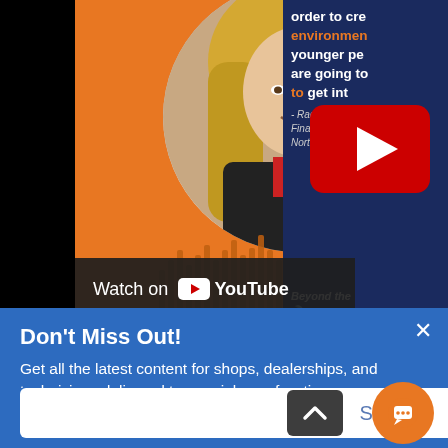[Figure (screenshot): YouTube video thumbnail showing a woman with blonde hair in a black jacket against an orange background with audio waveform. Right side shows dark blue panel with white and orange text quote: 'order to cre... environment... younger pe... are going to... to get int...' attributed to Rachel Jan, Financial Advi, Northwestern M. Bottom left shows 'Beyond the WRENC' logo. YouTube play button visible in center. 'Watch on YouTube' bar at bottom left.]
Don't Miss Out!
Get all the latest content for shops, dealerships, and technicians delivered to your inbox a few times a month.
Sign Up